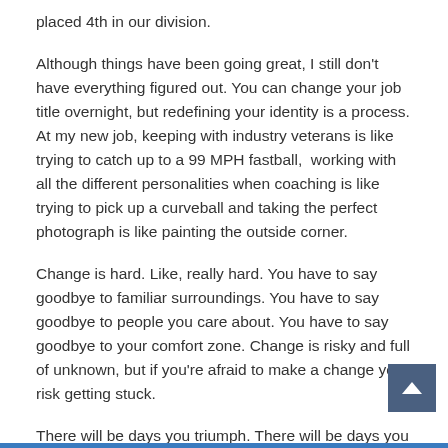placed 4th in our division.
Although things have been going great, I still don't have everything figured out. You can change your job title overnight, but redefining your identity is a process. At my new job, keeping with industry veterans is like trying to catch up to a 99 MPH fastball,  working with all the different personalities when coaching is like trying to pick up a curveball and taking the perfect photograph is like painting the outside corner.
Change is hard. Like, really hard. You have to say goodbye to familiar surroundings. You have to say goodbye to people you care about. You have to say goodbye to your comfort zone. Change is risky and full of unknown, but if you're afraid to make a change you risk getting stuck.
There will be days you triumph. There will be days you hurt. It's a process. Embrace it.